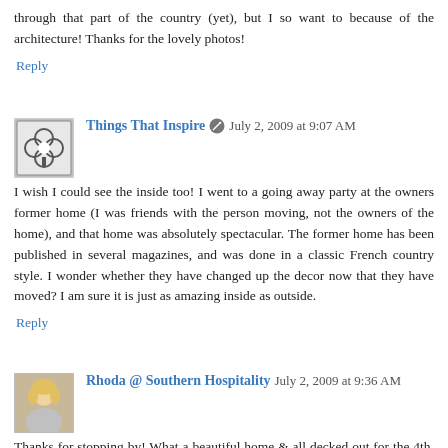through that part of the country (yet), but I so want to because of the architecture! Thanks for the lovely photos!
Reply
Things That Inspire  July 2, 2009 at 9:07 AM
I wish I could see the inside too! I went to a going away party at the owners former home (I was friends with the person moving, not the owners of the home), and that home was absolutely spectacular. The former home has been published in several magazines, and was done in a classic French country style. I wonder whether they have changed up the decor now that they have moved? I am sure it is just as amazing inside as outside.
Reply
Rhoda @ Southern Hospitality  July 2, 2009 at 9:36 AM
Thanks for stopping by! What a beautiful home & all decked out for the 4th. this has to be on West Paces Ferry Rd, I imagine. the most stately homes in Atlanta.